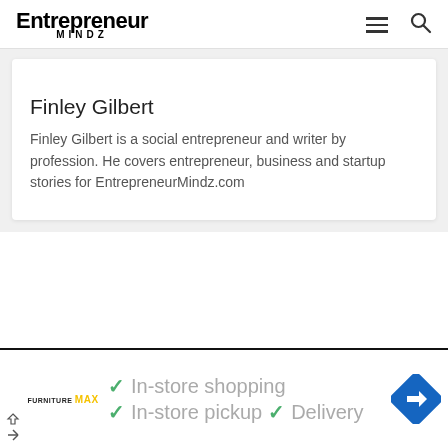Entrepreneur Mindz
Finley Gilbert
Finley Gilbert is a social entrepreneur and writer by profession. He covers entrepreneur, business and startup stories for EntrepreneurMindz.com
[Figure (infographic): Advertisement banner for Furniture Max store showing checkmarks with 'In-store shopping', 'In-store pickup', and 'Delivery' text, with a navigation/directions icon on the right side.]